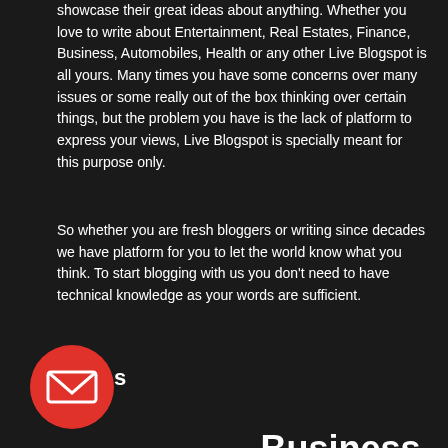showcase their great ideas about anything. Whether you love to write about Entertainment, Real Estates, Finance, Business, Automobiles, Health or any other Live Blogspot is all yours. Many times you have some concerns over many issues or some really out of the box thinking over certain things, but the problem you have is the lack of platform to express your views, Live Blogspot is specially meant for this purpose only.
So whether you are fresh bloggers or writing since decades we have platform for you to let the world know what you think. To start blogging with us you don't need to have technical knowledge as your words are sufficient.
[Figure (illustration): Red circular icon with envelope/letter symbol inside]
s
agarwal packers
artificial intelligence
Business
Custom boxes
custom printed boxes
Digital Marketing
Education
food
Health
Home
home improvement
Mobile App Development
packaging
packers and movers
SEO
SEO Services
social media
technology
travel
web design